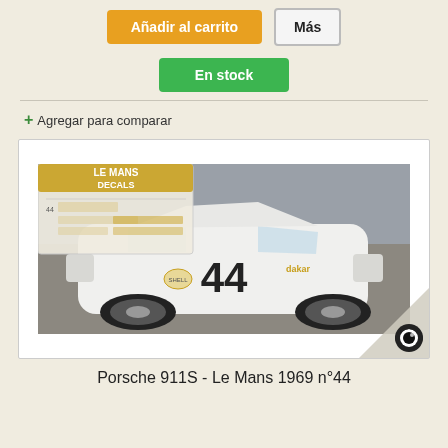Añadir al carrito
Más
En stock
+ Agregar para comparar
[Figure (photo): Photo of a white Porsche 911S race car with number 44, Le Mans 1969, overlaid with a Le Mans Decals sheet in the top-left corner. The car is shown on track with a blurred background.]
Porsche 911S - Le Mans 1969 n°44